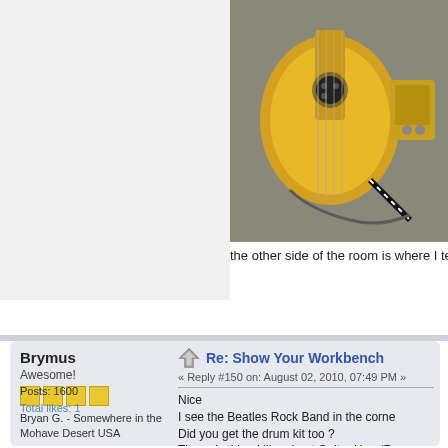[Figure (photo): Photo of a yellow electric guitar (Les Paul style) lying on the floor with cables and a small amplifier or pedal visible]
the other side of the room is where I test
Brymus
Awesome!
Posts: 1600
Total likes: 1
Bryan G. - Somewhere in the Mohave Desert USA
Re: Show Your Workbench
« Reply #150 on: August 02, 2010, 07:49 PM »
Nice
I see the Beatles Rock Band in the corne
Did you get the drum kit too ?
The only thing I like about Guitar Hero/R
The drums are dead on, on expert level.
9 yr old daughter before letting her sit at
Except when I play with the kids, then I p
And the vocal pitch indicator is a great vo
after playing it awhile.
And to my suprise and enjoyment she pr